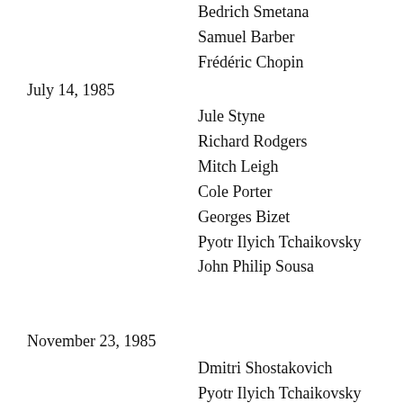Bedrich Smetana
Samuel Barber
Frédéric Chopin
July 14, 1985
Jule Styne
Richard Rodgers
Mitch Leigh
Cole Porter
Georges Bizet
Pyotr Ilyich Tchaikovsky
John Philip Sousa
November 23, 1985
Dmitri Shostakovich
Pyotr Ilyich Tchaikovsky
Pyotr Ilyich Tchaikovsky
February 1, 1986
Gioacchino Rossini
Richard Strauss